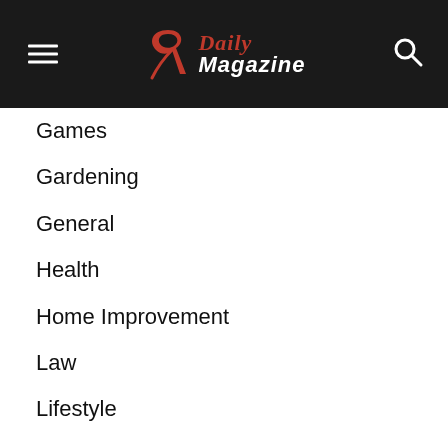R Daily Magazine
Games
Gardening
General
Health
Home Improvement
Law
Lifestyle
News
Parenting
Pet
Real Estate
Restaurant
SEO
Sports